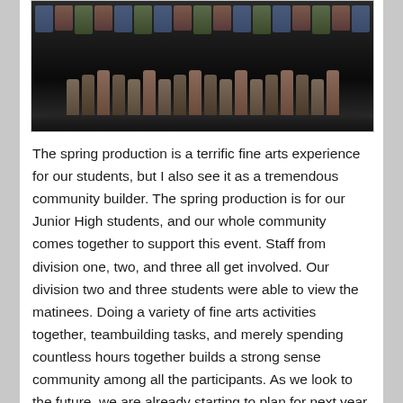[Figure (photo): A group photo of students on a stage, likely a school theater production. The image shows many students standing on a dark stage, viewed from the front.]
The spring production is a terrific fine arts experience for our students, but I also see it as a tremendous community builder.  The spring production is for our Junior High students, and our whole community comes together to support this event.  Staff from division one, two, and three all get involved.  Our division two and three students were able to view the matinees.  Doing a variety of fine arts activities together, teambuilding tasks, and merely spending countless hours together builds a strong sense community among all the participants.  As we look to the future, we are already starting to plan for next year.
Building community in our educational system is essential.  Without community, we can't build the system our students deserve and need.  Without community, we become individuals on a mission of self-learning.  As a community we become a team dedicated to helping...